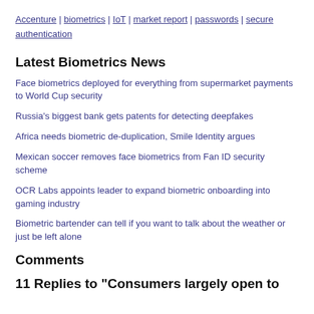Accenture | biometrics | IoT | market report | passwords | secure authentication
Latest Biometrics News
Face biometrics deployed for everything from supermarket payments to World Cup security
Russia's biggest bank gets patents for detecting deepfakes
Africa needs biometric de-duplication, Smile Identity argues
Mexican soccer removes face biometrics from Fan ID security scheme
OCR Labs appoints leader to expand biometric onboarding into gaming industry
Biometric bartender can tell if you want to talk about the weather or just be left alone
Comments
11 Replies to “Consumers largely open to